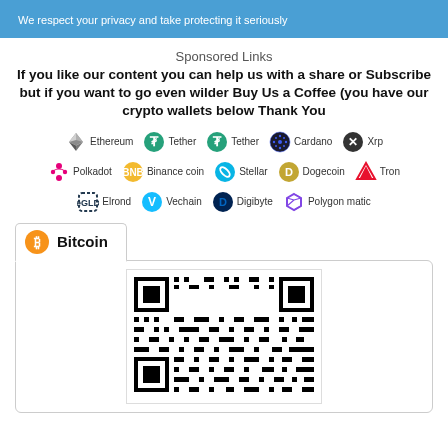We respect your privacy and take protecting it seriously
Sponsored Links
If you like our content you can help us with a share or Subscribe but if you want to go even wilder Buy Us a Coffee (you have our crypto wallets below Thank You
[Figure (infographic): Crypto currency logos in a grid: Ethereum, Tether, Tether, Cardano, Xrp, Polkadot, Binance coin, Stellar, Dogecoin, Tron, Elrond, Vechain, Digibyte, Polygon matic]
[Figure (other): Bitcoin tab with orange Bitcoin logo and QR code for Bitcoin wallet]